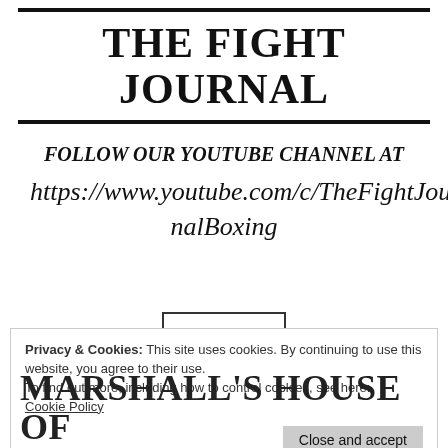THE FIGHT JOURNAL
FOLLOW OUR YOUTUBE CHANNEL AT https://www.youtube.com/c/TheFightJournalBoxing
Privacy & Cookies: This site uses cookies. By continuing to use this website, you agree to their use.
To find out more, including how to control cookies, see here:
Cookie Policy
Close and accept
MARSHALL'S HOUSE OF